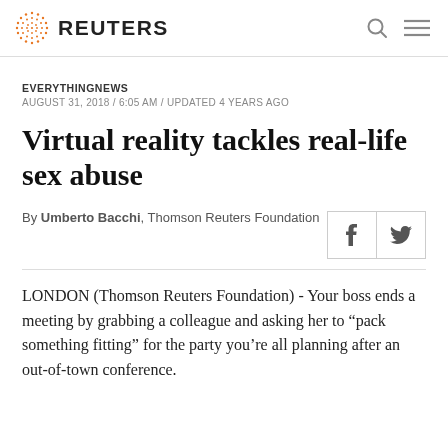REUTERS
EVERYTHINGNEWS
AUGUST 31, 2018 / 6:05 AM / UPDATED 4 YEARS AGO
Virtual reality tackles real-life sex abuse
By Umberto Bacchi, Thomson Reuters Foundation
LONDON (Thomson Reuters Foundation) - Your boss ends a meeting by grabbing a colleague and asking her to “pack something fitting” for the party you’re all planning after an out-of-town conference.